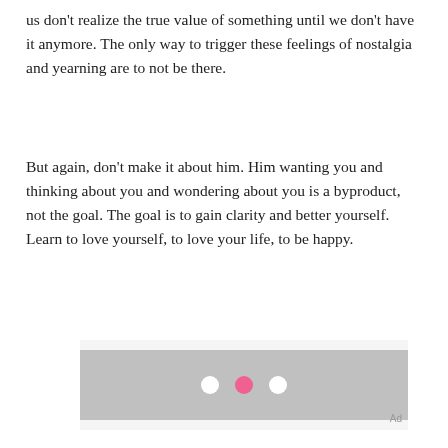us don't realize the true value of something until we don't have it anymore. The only way to trigger these feelings of nostalgia and yearning are to not be there.
But again, don't make it about him. Him wanting you and thinking about you and wondering about you is a byproduct, not the goal. The goal is to gain clarity and better yourself. Learn to love yourself, to love your life, to be happy.
[Figure (other): Advertisement placeholder with gray background and three dots (white, pink, white) indicating a loading or carousel indicator]